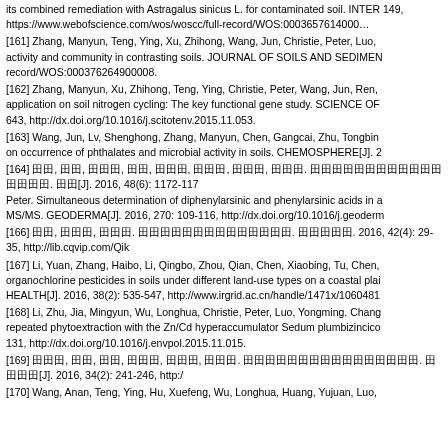its combined remediation with Astragalus sinicus L. for contaminated soil. INTER 149, https://www.webofscience.com/wos/woscc/full-record/WOS:000365761400
[161] Zhang, Manyun, Teng, Ying, Xu, Zhihong, Wang, Jun, Christie, Peter, Luo, activity and community in contrasting soils. JOURNAL OF SOILS AND SEDIMEN record/WOS:000376264900008.
[162] Zhang, Manyun, Xu, Zhihong, Teng, Ying, Christie, Peter, Wang, Jun, Ren, application on soil nitrogen cycling: The key functional gene study. SCIENCE OF 643, http://dx.doi.org/10.1016/j.scitotenv.2015.11.053.
[163] Wang, Jun, Lv, Shenghong, Zhang, Manyun, Chen, Gangcai, Zhu, Tongbin on occurrence of phthalates and microbial activity in soils. CHEMOSPHERE[J]. 2
[164] 田田, 田田, 田田田, 田田, 田田田, 田田田, 田田田, 田田田. 田田田田田田田田田田田田田田田田. 田田[J]. 2016, 48(6): 1172-117 Peter. Simultaneous determination of diphenylarsinic and phenylarsinic acids in a MS/MS. GEODERMA[J]. 2016, 270: 109-116, http://dx.doi.org/10.1016/j.geoderm
[166] 田田, 田田田, 田田田. 田田田田田田田田田田田田田田. 田田田田田. 2016, 42(4): 29-35, http://lib.cqvip.com/Qik
[167] Li, Yuan, Zhang, Haibo, Li, Qingbo, Zhou, Qian, Chen, Xiaobing, Tu, Chen, organochlorine pesticides in soils under different land-use types on a coastal plai HEALTH[J]. 2016, 38(2): 535-547, http://www.irgrid.ac.cn/handle/1471x/1060481
[168] Li, Zhu, Jia, Mingyun, Wu, Longhua, Christie, Peter, Luo, Yongming. Chang repeated phytoextraction with the Zn/Cd hyperaccumulator Sedum plumbizincico 131, http://dx.doi.org/10.1016/j.envpol.2015.11.015.
[169] 田田田, 田田, 田田, 田田田, 田田田, 田田田. 田田田田田田田田田田田田田田田田. 田田田田[J]. 2016, 34(2): 241-246, http:/
[170] Wang, Anan, Teng, Ying, Hu, Xuefeng, Wu, Longhua, Huang, Yujuan, Luo,